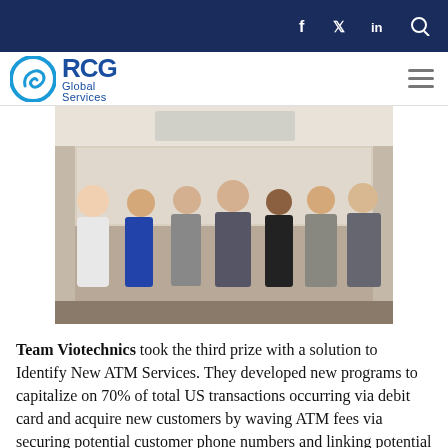RCG Global Services
[Figure (photo): Group photo of seven people standing together in a conference room in front of a projection screen, dressed in business attire.]
Team Viotechnics took the third prize with a solution to Identify New ATM Services. They developed new programs to capitalize on 70% of total US transactions occurring via debit card and acquire new customers by waving ATM fees via securing potential customer phone numbers and linking potential